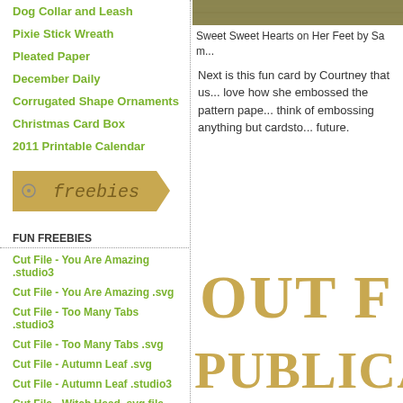Dog Collar and Leash
Pixie Stick Wreath
Pleated Paper
December Daily
Corrugated Shape Ornaments
Christmas Card Box
2011 Printable Calendar
[Figure (illustration): Freebies banner with tan/gold color and bullet point, text: freebies]
FUN FREEBIES
Cut File - You Are Amazing .studio3
Cut File - You Are Amazing .svg
Cut File - Too Many Tabs .studio3
Cut File - Too Many Tabs .svg
Cut File - Autumn Leaf .svg
Cut File - Autumn Leaf .studio3
Cut File - Witch Head .svg file
[Figure (photo): Partial image cropped at top, khaki/tan textured background]
Sweet Sweet Hearts on Her Feet by Sa...
Next is this fun card by Courtney that us... love how she embossed the pattern pape... think of embossing anything but cardsto... future.
[Figure (other): Large bold gold/tan text reading OUT F... PUBLICA... indicating Out of Publication watermark]